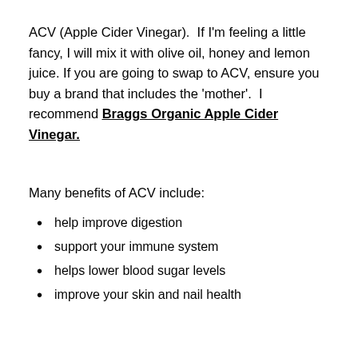ACV (Apple Cider Vinegar).  If I'm feeling a little fancy, I will mix it with olive oil, honey and lemon juice. If you are going to swap to ACV, ensure you buy a brand that includes the 'mother'.  I recommend Braggs Organic Apple Cider Vinegar.
Many benefits of ACV include:
help improve digestion
support your immune system
helps lower blood sugar levels
improve your skin and nail health